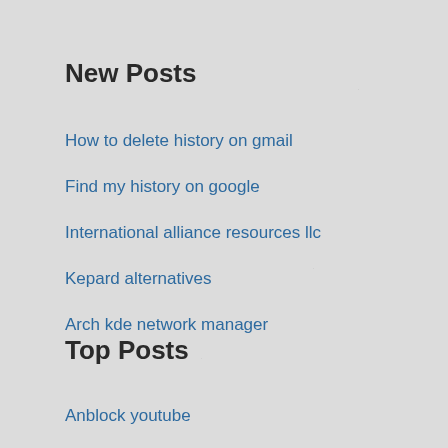New Posts
How to delete history on gmail
Find my history on google
International alliance resources llc
Kepard alternatives
Arch kde network manager
Top Posts
Anblock youtube
Mi ip direccion